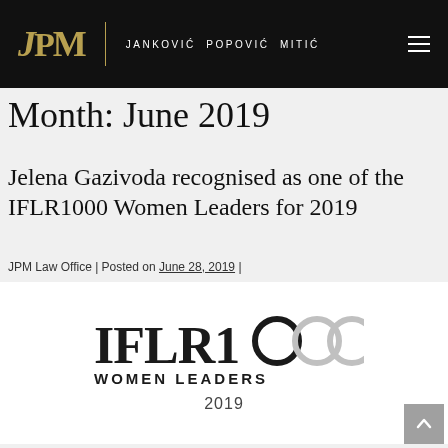JPM | JANKOVIĆ POPOVIĆ MITIĆ
Month: June 2019
Jelena Gazivoda recognised as one of the IFLR1000 Women Leaders for 2019
JPM Law Office | Posted on June 28, 2019 |
[Figure (logo): IFLR1000 Women Leaders 2019 logo — bold text 'IFLR1000' with stylized circles for the three zeros, 'WOMEN LEADERS' below, and '2019' beneath that.]